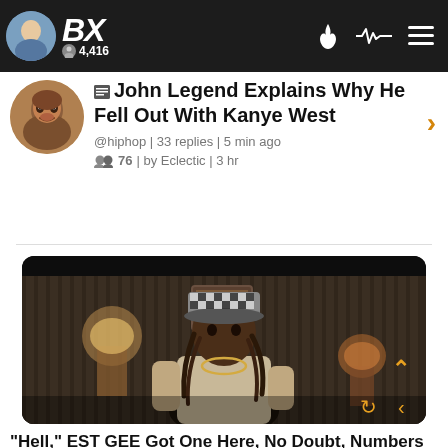BX | 4,416
John Legend Explains Why He Fell Out With Kanye West
@hiphop | 33 replies | 5 min ago
76 | by Eclectic | 3 hr
[Figure (photo): Man wearing a checkered bucket hat and chain necklace, leaning forward in a dimly lit room with lamps and striped wallpaper]
"Hell," EST GEE Got One Here, No Doubt, Numbers